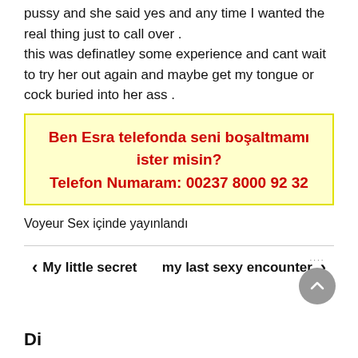pussy and she said yes and any time I wanted the real thing just to call over . this was definatley some experience and cant wait to try her out again and maybe get my tongue or cock buried into her ass .
[Figure (infographic): Yellow advertisement box with red bold Turkish text: 'Ben Esra telefonda seni boşaltmamı ister misin? Telefon Numaram: 00237 8000 92 32']
Voyeur Sex içinde yayınlandı
< My little secret    my last sexy encounter. >
Di...